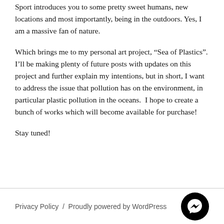Sport introduces you to some pretty sweet humans, new locations and most importantly, being in the outdoors. Yes, I am a massive fan of nature.
Which brings me to my personal art project, “Sea of Plastics”. I’ll be making plenty of future posts with updates on this project and further explain my intentions, but in short, I want to address the issue that pollution has on the environment, in particular plastic pollution in the oceans.  I hope to create a bunch of works which will become available for purchase!
Stay tuned!
Privacy Policy / Proudly powered by WordPress